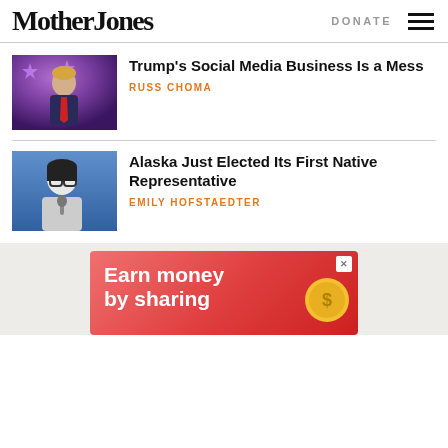Mother Jones | DONATE
Trump's Social Media Business Is a Mess
RUSS CHOMA
Alaska Just Elected Its First Native Representative
EMILY HOFSTAEDTER
[Figure (photo): Advertisement banner: Earn money by sharing, with pink/red gradient background and coin graphic]